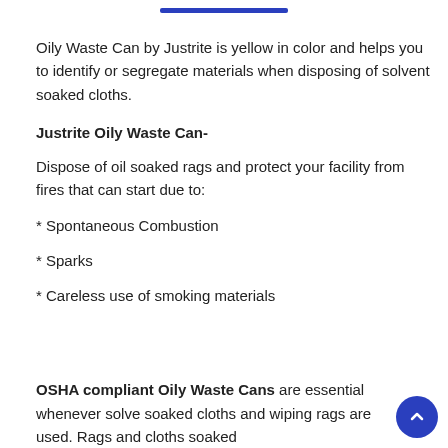Oily Waste Can by Justrite is yellow in color and helps you to identify or segregate materials when disposing of solvent soaked cloths.
Justrite Oily Waste Can-
Dispose of oil soaked rags and protect your facility from fires that can start due to:
* Spontaneous Combustion
* Sparks
* Careless use of smoking materials
OSHA compliant Oily Waste Cans are essential whenever solvent soaked cloths and wiping rags are used. Rags and cloths soaked